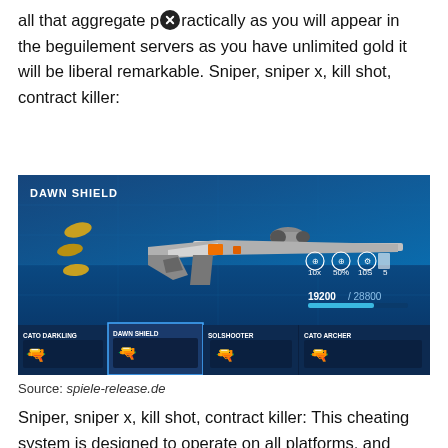all that aggregate practically as you will appear in the beguilement servers as you have unlimited gold it will be liberal remarkable. Sniper, sniper x, kill shot, contract killer:
[Figure (screenshot): Screenshot of a mobile sniper game showing a sniper rifle called DAWN SHIELD with stats (10x, 50%, 10S, 5) and progress bar showing 19200/28800, with weapon selection carousel at bottom showing CATO DARKLING, DAWN SHIELD, SOLSHOOTER, CATO ARCHER]
Source: spiele-release.de
Sniper, sniper x, kill shot, contract killer: This cheating system is designed to operate on all platforms, and you don't have to root or jailbreak.